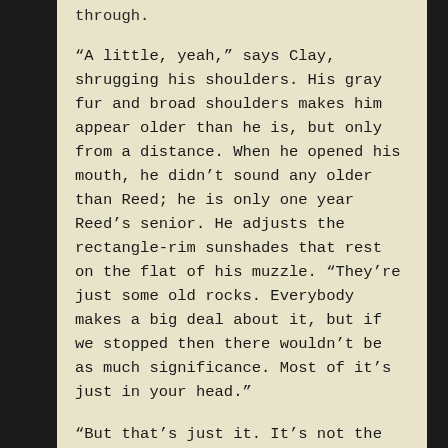through.
“A little, yeah,” says Clay, shrugging his shoulders. His gray fur and broad shoulders makes him appear older than he is, but only from a distance. When he opened his mouth, he didn’t sound any older than Reed; he is only one year Reed’s senior. He adjusts the rectangle-rim sunshades that rest on the flat of his muzzle. “They’re just some old rocks. Everybody makes a big deal about it, but if we stopped then there wouldn’t be as much significance. Most of it’s just in your head.”
“But that’s just it. It’s not the stone things, it’s that everyone’s watching.”
From their vantage point on the road, only a few people are even visible beyond the green shrubs and trees. Yet the two had just been back there when Clay proposed the idea. There were at least a hundred students milling about in the mid-afternoon, mostly